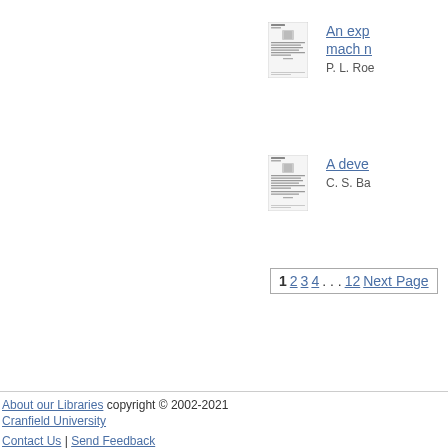[Figure (other): Thumbnail of a document cover page for 'An exp... mach n...' paper]
An exp... mach n...
P. L. Roe
[Figure (other): Thumbnail of a document cover page for 'A deve...' paper]
A deve...
C. S. Ba...
1 2 3 4 ... 12 Next Page
About our Libraries copyright © 2002-2021
Cranfield University

Contact Us | Send Feedback